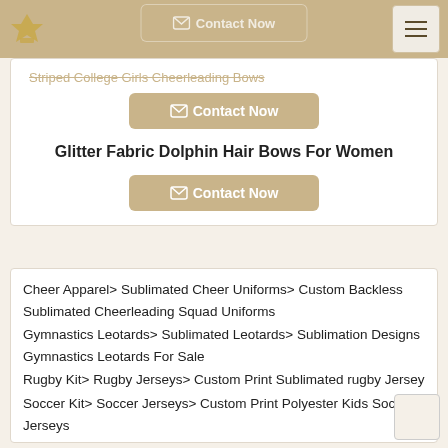Navigation bar with logo and hamburger menu
Striped College Girls Cheerleading Bows
Contact Now
Glitter Fabric Dolphin Hair Bows For Women
Contact Now
Cheer Apparel> Sublimated Cheer Uniforms> Custom Backless Sublimated Cheerleading Squad Uniforms
Gymnastics Leotards> Sublimated Leotards> Sublimation Designs Gymnastics Leotards For Sale
Rugby Kit> Rugby Jerseys> Custom Print Sublimated rugby Jersey
Soccer Kit> Soccer Jerseys> Custom Print Polyester Kids Soccer Jerseys